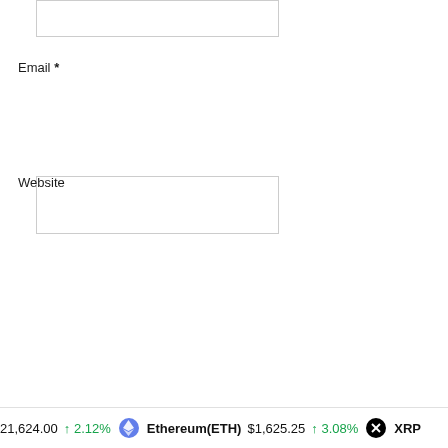[Figure (screenshot): Empty text input box at top of form (partially cropped)]
Email *
[Figure (screenshot): Empty email input text box]
Website
[Figure (screenshot): Empty website input text box]
[Figure (screenshot): Post Comment button, dark gray background with white bold text]
21,624.00  ↑ 2.12%    Ethereum(ETH)  $1,625.25  ↑ 3.08%    XRP